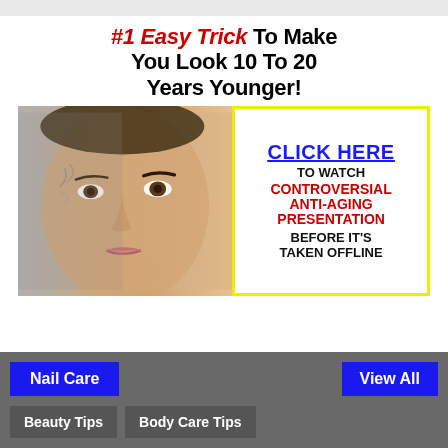#1 Easy Trick To Make You Look 10 To 20 Years Younger!
[Figure (infographic): Advertisement image showing a woman's face (half aged, half young) alongside a yellow-bordered call-to-action box saying 'Click Here to Watch Controversial Anti-Aging Presentation Before It's Taken Offline']
Nail Care
View All
Beauty Tips
Body Care Tips